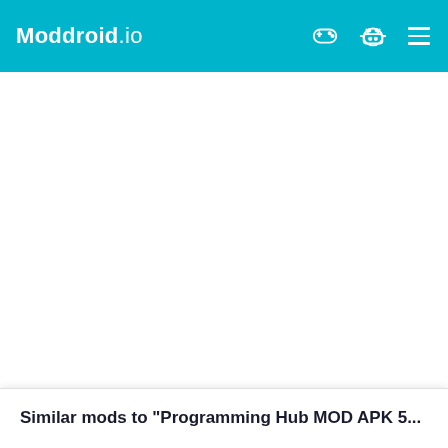Moddroid.io
[Figure (screenshot): Large white blank content area below the navigation bar, likely an advertisement or image placeholder]
Similar mods to "Programming Hub MOD APK 5...